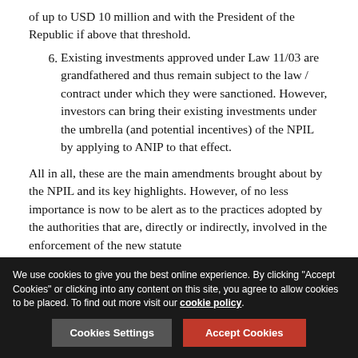of up to USD 10 million and with the President of the Republic if above that threshold.
6. Existing investments approved under Law 11/03 are grandfathered and thus remain subject to the law / contract under which they were sanctioned. However, investors can bring their existing investments under the umbrella (and potential incentives) of the NPIL by applying to ANIP to that effect.
All in all, these are the main amendments brought about by the NPIL and its key highlights. However, of no less importance is now to be alert as to the practices adopted by the authorities that are, directly or indirectly, involved in the enforcement of the new statute
Alberto Galhardo Simoes
We use cookies to give you the best online experience. By clicking "Accept Cookies" or clicking into any content on this site, you agree to allow cookies to be placed. To find out more visit our cookie policy.